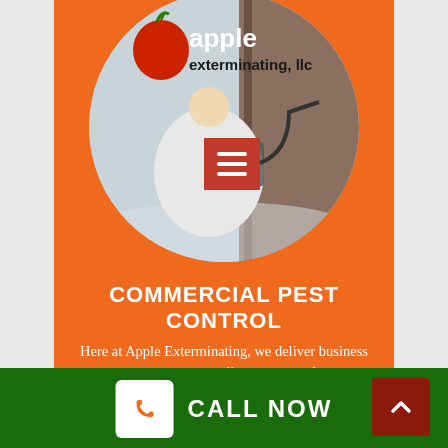[Figure (logo): Apple Exterminating LLC logo with red apple and white text, overlaid on circular photo of pest control worker in white suit spraying]
COMMERCIAL PEST CONTROL
Here at Apple Exterminating, we deliver business managers with many different styles of service programs that are all centered on helping keep your work environment safe and clean. Whether you are
CALL NOW